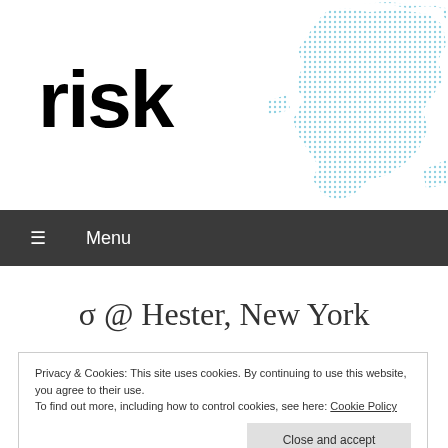[Figure (logo): Risk magazine logo with bold black lowercase 'risk' text]
[Figure (illustration): Dotted blue world map graphic in upper right corner]
≡  Menu
σ @ Hester, New York
Privacy & Cookies: This site uses cookies. By continuing to use this website, you agree to their use.
To find out more, including how to control cookies, see here: Cookie Policy
Close and accept